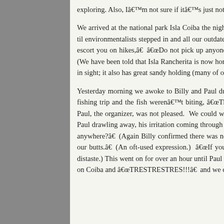exploring. Also, Iâ€™m not sure if itâ€™s just not the season or what, hardly any people. Itâ€™s hard to feel like we have to keep moving on.

We arrived at the national park Isla Coiba the night before last and anchored on the eastern side of Coibita/Rancherita. The main island used to be a penal colony til environmentalists stepped in and all our outdated guides say things like: â€œKeep a 24-hour watch on deck at any of the outlying islands,â€ â€œGet a guard to escort you on hikes,â€ â€œDo not pick up anyone floating in crude boats begging for help,â€ or â€œWe have personally seen escaped inmates on this island.â€ (We have been told that Isla Rancherita is now home to a Smithsonian station and the penal colony is no more.) The cove is densely jungly with no trash or debris in sight; it also has great sandy holding (many of our anchorages have had with a lot of coral debris mixed with the sand).

Yesterday morning we awoke to Billy and Paul duking it out on channel 16. The captain of the sportfisher â€œTyphoonâ€ was supposed to go get live bait for a fishing trip and the fish werenâ€™t biting, â€œThere are NO fish out here; not even the locals are catching anythingâ€ (I find that hard to believe, butâ€¦) and Paul, the organizer, was not pleased. We could watch out of our cove as the Typhoon charged around burning up fuel and looking for bonito, and we could hear Paul drawling away, his irritation coming through in careful enunciation if not always complete sentences, â€œLet me get this straight. There is NO live bait at all anywhere?â€ (Again Billy confirmed there was none in several different ways.) â€œCause I got fifteen people here and weâ€™re just sittinâ€™ here pickinâ€™ our butts.â€ (An oft-used expression.) â€œIf youâ€™re telling me no live bait I guess weâ€™ll have to just take â€˜em snorkeling.â€ (Said with considerable distaste.) This went on for over an hour until Paul went silent with his tourists and chatter was replace by the incessant rapid-fire hailing between the ranger station on Coiba and â€œTRESTRESTRES!!!â€ and we decided to head over to the station to get checked in.